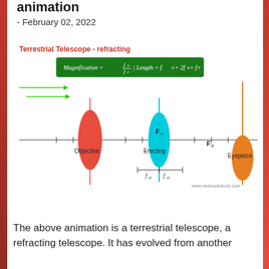animation
- February 02, 2022
[Figure (illustration): Diagram of a Terrestrial Telescope (refracting) showing Objective (red lens), Erecting (cyan lens), and Eyepiece (orange lens) on a horizontal optical axis. A green formula box shows: Magnification = fo/fe | Length = fo + 2fa + fe. Green arrows indicate incoming light. Labels: Fo, Fe, fa, fa, Objective, Erecting, Eyepiece. Website: www.vivaxsolutions.com]
The above animation is a terrestrial telescope, a refracting telescope. It has evolved from another